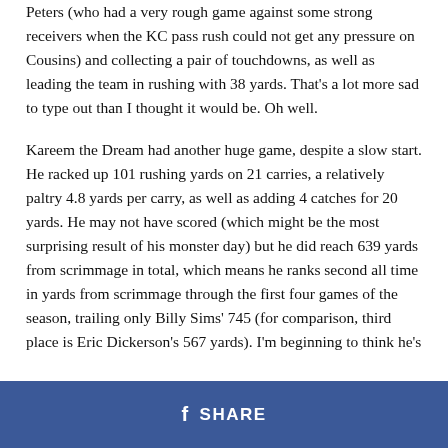Peters (who had a very rough game against some strong receivers when the KC pass rush could not get any pressure on Cousins) and collecting a pair of touchdowns, as well as leading the team in rushing with 38 yards. That's a lot more sad to type out than I thought it would be. Oh well.
Kareem the Dream had another huge game, despite a slow start. He racked up 101 rushing yards on 21 carries, a relatively paltry 4.8 yards per carry, as well as adding 4 catches for 20 yards. He may not have scored (which might be the most surprising result of his monster day) but he did reach 639 yards from scrimmage in total, which means he ranks second all time in yards from scrimmage through the first four games of the season, trailing only Billy Sims' 745 (for comparison, third place is Eric Dickerson's 567 yards). I'm beginning to think he's legit, ladies and gentlemen.
Well, enough patting ourselves on the back. Sunday Night...
[Figure (other): Facebook Share button bar at bottom of page]